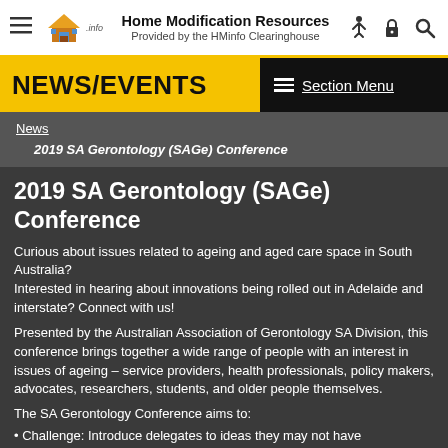Home Modification Resources
Provided by the HMinfo Clearinghouse
NEWS/EVENTS
News
2019 SA Gerontology (SAGe) Conference
2019 SA Gerontology (SAGe) Conference
Curious about issues related to ageing and aged care space in South Australia?
Interested in hearing about innovations being rolled out in Adelaide and interstate? Connect with us!
Presented by the Australian Association of Gerontology SA Division, this conference brings together a wide range of people with an interest in issues of ageing – service providers, health professionals, policy makers, advocates, researchers, students, and older people themselves.
The SA Gerontology Conference aims to:
• Challenge: Introduce delegates to ideas they may not have